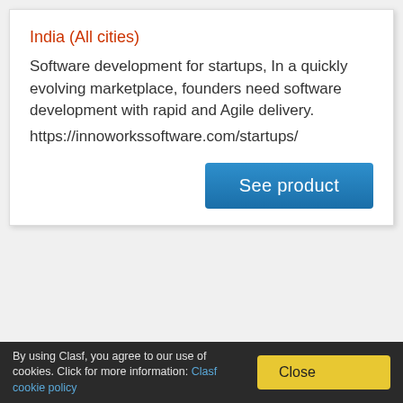India (All cities)
Software development for startups, In a quickly evolving marketplace, founders need software development with rapid and Agile delivery.
https://innoworkssoftware.com/startups/
See product
By using Clasf, you agree to our use of cookies. Click for more information: Clasf cookie policy  Close